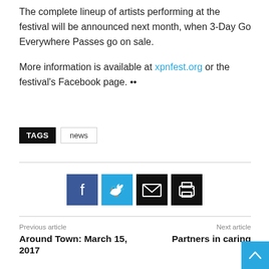The complete lineup of artists performing at the festival will be announced next month, when 3-Day Go Everywhere Passes go on sale.
More information is available at xpnfest.org or the festival's Facebook page. ••
TAGS  news
[Figure (infographic): Social sharing buttons: Facebook (blue), Twitter (light blue), Email (black), Print (black)]
Previous article
Around Town: March 15, 2017
Next article
Partners in caring